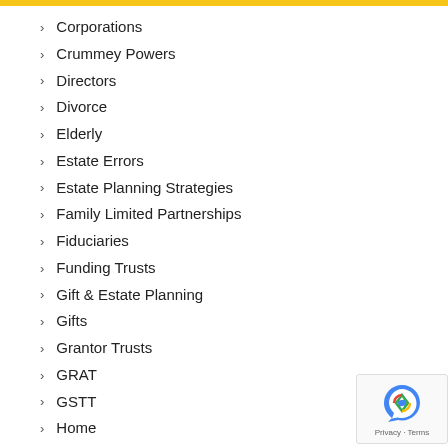Corporations
Crummey Powers
Directors
Divorce
Elderly
Estate Errors
Estate Planning Strategies
Family Limited Partnerships
Fiduciaries
Funding Trusts
Gift & Estate Planning
Gifts
Grantor Trusts
GRAT
GSTT
Home
Insurance